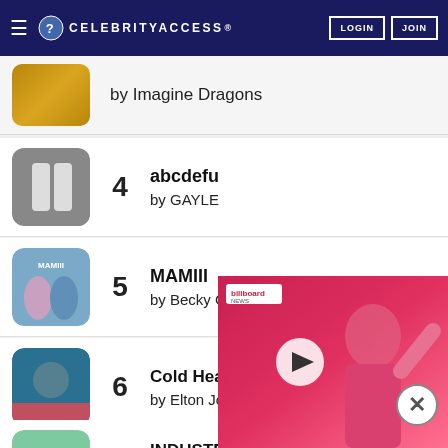CELEBRITYACCESS
by Imagine Dragons
4 abcdefu by GAYLE
5 MAMIII by Becky G, KAROL G
6 Cold Heart - PNAU Remix by Elton John, Dua Lipa
7 INDUSTRY (Harlow) by Lil Nas X
[Figure (screenshot): Billboard News video overlay with a person in pink raising their arm, with a play button in the center]